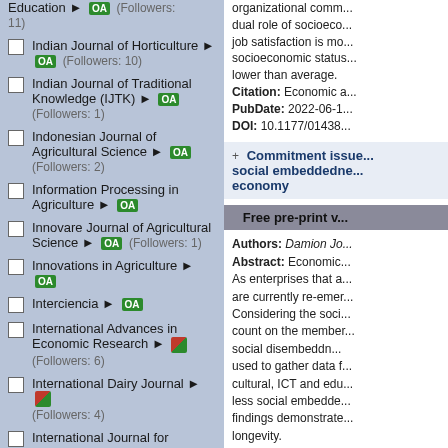Education OA (Followers: 11)
Indian Journal of Horticulture OA (Followers: 10)
Indian Journal of Traditional Knowledge (IJTK) OA (Followers: 1)
Indonesian Journal of Agricultural Science OA (Followers: 2)
Information Processing in Agriculture OA
Innovare Journal of Agricultural Science OA (Followers: 1)
Innovations in Agriculture OA
Interciencia OA
International Advances in Economic Research (Followers: 6)
International Dairy Journal (Followers: 4)
International Journal for Parasitology : Parasites and
organizational comm... dual role of socioeco... job satisfaction is mo... socioeconomic status... lower than average.
Citation: Economic a... PubDate: 2022-06-1... DOI: 10.1177/01438...
Commitment issue... social embeddedne... economy
Free pre-print v...
Authors: Damion Jo... Abstract: Economic... As enterprises that a... are currently re-emer... Considering the soci... count on the member... social disembeddn... used to gather data f... cultural, ICT and edu... less social embedde... findings demonstrate... longevity.
Citation: Economic a... PubDate: 2022-06-1... DOI: 10.1177/01438...